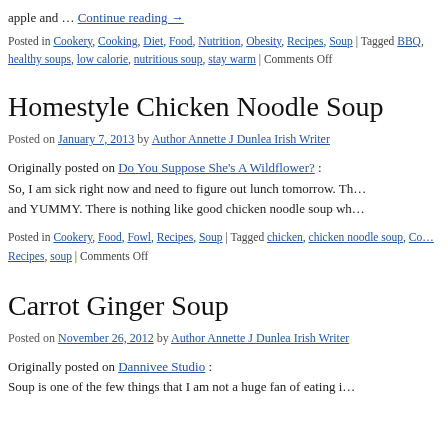apple and … Continue reading →
Posted in Cookery, Cooking, Diet, Food, Nutrition, Obesity, Recipes, Soup | Tagged BBQ, healthy soups, low calorie, nutritious soup, stay warm | Comments Off
Homestyle Chicken Noodle Soup
Posted on January 7, 2013 by Author Annette J Dunlea Irish Writer
Originally posted on Do You Suppose She's A Wildflower? : So, I am sick right now and need to figure out lunch tomorrow. Th… and YUMMY. There is nothing like good chicken noodle soup wh…
Posted in Cookery, Food, Fowl, Recipes, Soup | Tagged chicken, chicken noodle soup, Co… Recipes, soup | Comments Off
Carrot Ginger Soup
Posted on November 26, 2012 by Author Annette J Dunlea Irish Writer
Originally posted on Dannivee Studio : Soup is one of the few things that I am not a huge fan of eating i…